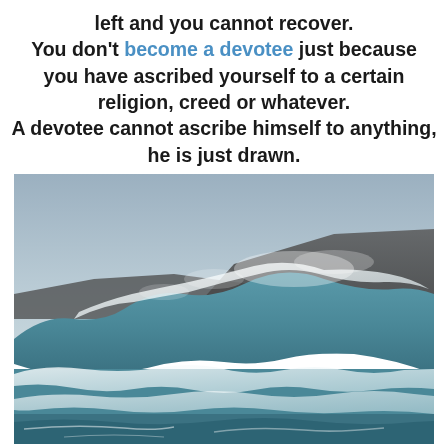left and you cannot recover. You don't become a devotee just because you have ascribed yourself to a certain religion, creed or whatever. A devotee cannot ascribe himself to anything, he is just drawn.
[Figure (photo): Ocean waves crashing with white foam and spray, rocky coastline visible in background, blue-grey sky above.]